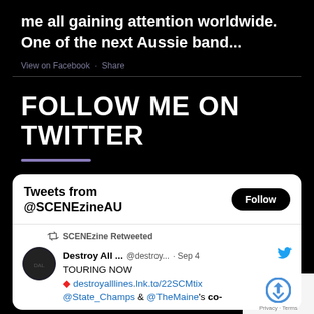me all gaining attention worldwide. One of the next Aussie band...
View on Facebook · Share
FOLLOW ME ON TWITTER
[Figure (screenshot): Twitter widget showing 'Tweets from @SCENEzineAU' with a Follow button, and a retweeted post from 'Destroy All ...' @destroy... · Sep 4 saying 'TOURING NOW destroyalllines.lnk.to/22SCMtix @State_Champs & @TheMaine's co-' with avatar image]
[Figure (other): reCAPTCHA logo overlay with Privacy · Terms text]